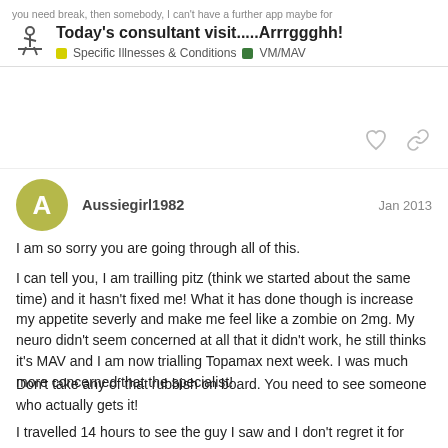Today's consultant visit.....Arrrggghh!
Specific Illnesses & Conditions  VM/MAV
Aussiegirl1982  Jan 2013
I am so sorry you are going through all of this.
I can tell you, I am trailling pitz (think we started about the same time) and it hasn't fixed me! What it has done though is increase my appetite severly and make me feel like a zombie on 2mg. My neuro didn't seem concerned at all that it didn't work, he still thinks it's MAV and I am now trialling Topamax next week. I was much more concerned that the specialist!
Don't take any of that rubbish on board. You need to see someone who actually gets it!
I travelled 14 hours to see the guy I saw and I don't regret it for